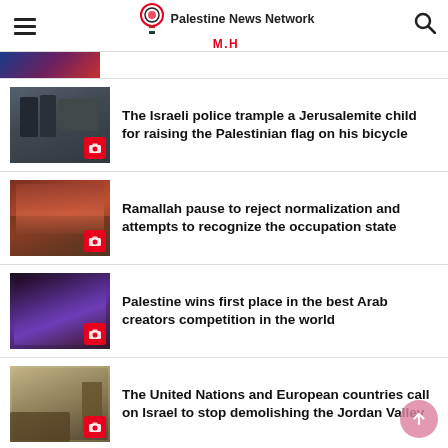Palestine News Network M.H
[Figure (photo): Partial thumbnail of a news article (cropped at top of page) showing blue and red tones]
The Israeli police trample a Jerusalemite child for raising the Palestinian flag on his bicycle
Ramallah pause to reject normalization and attempts to recognize the occupation state
Palestine wins first place in the best Arab creators competition in the world
The United Nations and European countries call on Israel to stop demolishing the Jordan Valley